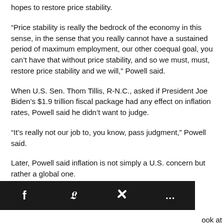hopes to restore price stability.
“Price stability is really the bedrock of the economy in this sense, in the sense that you really cannot have a sustained period of maximum employment, our other coequal goal, you can’t have that without price stability, and so we must, must, restore price stability and we will,” Powell said.
When U.S. Sen. Thom Tillis, R-N.C., asked if President Joe Biden’s $1.9 trillion fiscal package had any effect on inflation rates, Powell said he didn’t want to judge.
“It’s really not our job to, you know, pass judgment,” Powell said.
Later, Powell said inflation is not simply a U.S. concern but rather a global one.
[Figure (infographic): Social media sharing bar with icons for Facebook, Twitter, link/chain, and more (ellipsis) on a dark background]
ook at